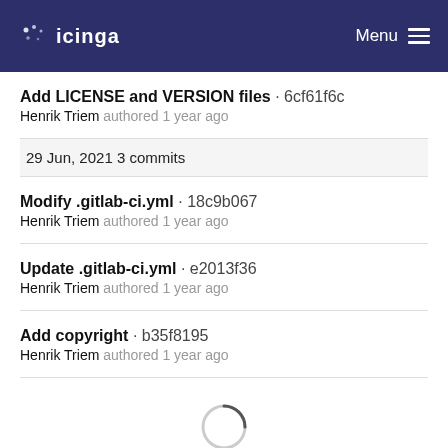icinga  Menu
Add LICENSE and VERSION files · 6cf61f6c
Henrik Triem authored 1 year ago
29 Jun, 2021 3 commits
Modify .gitlab-ci.yml · 18c9b067
Henrik Triem authored 1 year ago
Update .gitlab-ci.yml · e2013f36
Henrik Triem authored 1 year ago
Add copyright · b35f8195
Henrik Triem authored 1 year ago
[Figure (other): Loading spinner (circular arc indicator)]